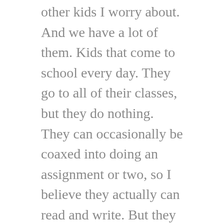other kids I worry about. And we have a lot of them. Kids that come to school every day. They go to all of their classes, but they do nothing. They can occasionally be coaxed into doing an assignment or two, so I believe they actually can read and write. But they really have no desire to be successful in school, and so they don't try. And their test scores reflect that- far below basic.
There seems to be a general consensus that students have the right to fail. But that needs to change. Society provides a lot of resources so that each student can be in